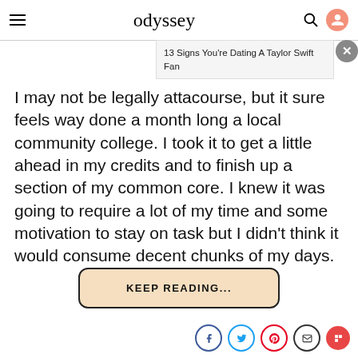odyssey
13 Signs You're Dating A Taylor Swift Fan
I may not be legally atta course, but it sure feels way done a month long a local community college. I took it to get a little ahead in my credits and to finish up a section of my common core. I knew it was going to require a lot of my time and some motivation to stay on task but I didn't think it would consume decent chunks of my days.
KEEP READING...